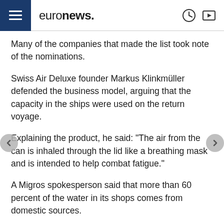euronews.
Many of the companies that made the list took note of the nominations.
Swiss Air Deluxe founder Markus Klinkmüller defended the business model, arguing that the capacity in the ships were used on the return voyage.
Explaining the product, he said: "The air from the can is inhaled through the lid like a breathing mask and is intended to help combat fatigue."
A Migros spokesperson said that more than 60 percent of the water in its shops comes from domestic sources.
Meanwhile, Aldi claimed that the transport times and loading of the vehicles have been optimised "in order